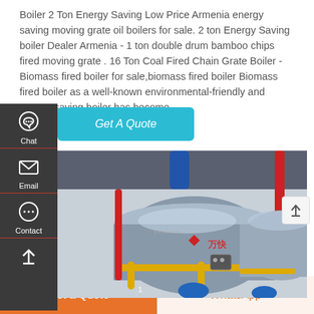Boiler 2 Ton Energy Saving Low Price Armenia energy saving moving grate oil boilers for sale. 2 ton Energy Saving boiler Dealer Armenia - 1 ton double drum bamboo chips fired moving grate . 16 Ton Coal Fired Chain Grate Boiler - Biomass fired boiler for sale,biomass fired boiler Biomass fired boiler as a well-known environmental-friendly and energy-saving boiler has become …
[Figure (screenshot): Industrial boiler equipment photo showing large horizontal cylindrical boilers with yellow and red piping in a factory setting. Chinese text visible on boiler.]
Get A Quote
Chat
Email
Contact
Get a Quote
WhatsApp